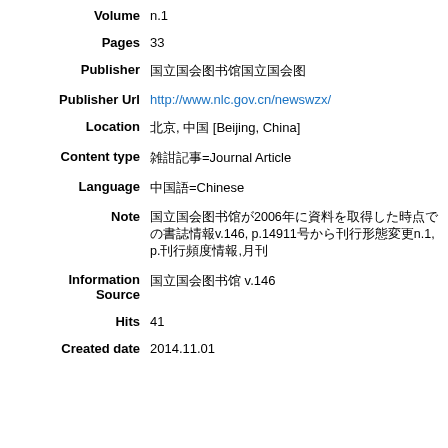Volume: n.1
Pages: 33
Publisher: 国立国会図書館
Publisher Url: http://www.nlc.gov.cn/newswzx/
Location: 北京, 中国 [Beijing, China]
Content type: 雑誌記事=Journal Article
Language: 中国語=Chinese
Note: 国立国会図書館が2006年に資料を取得した時点での書誌情報 v.146, p.149第1号から刊行形態変更n.1, p.刊行頻度情報,月刊
Information Source: 国立国会図書館 v.146
Hits: 41
Created date: 2014.11.01